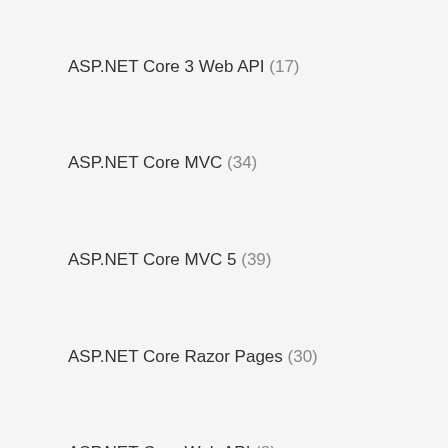Advanced C# (8)
ASP.NET Core 3 Web API (17)
ASP.NET Core MVC (34)
ASP.NET Core MVC 5 (39)
ASP.NET Core Razor Pages (30)
ASP.NET Core Web API (8)
ASP.NET MVC (29)
ASP.NET Web API (7)
Entity Framework (9)
Entity Framework Core (19)
Golang (159)
Golang (77)